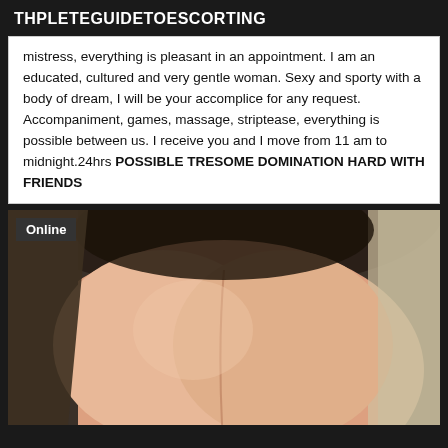THPLETEGUIDETOESCORTING
mistress, everything is pleasant in an appointment. I am an educated, cultured and very gentle woman. Sexy and sporty with a body of dream, I will be your accomplice for any request. Accompaniment, games, massage, striptease, everything is possible between us. I receive you and I move from 11 am to midnight.24hrs POSSIBLE TRESOME DOMINATION HARD WITH FRIENDS
[Figure (photo): Close-up photo of a woman's chest/décolletage area with an 'Online' badge overlay in the top-left corner]